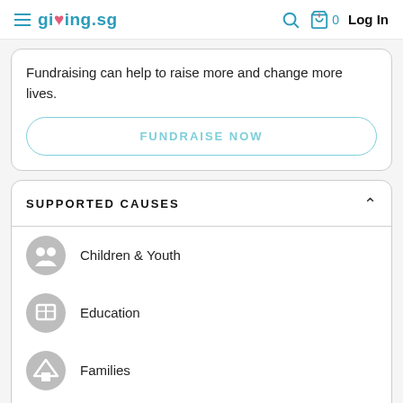giving.sg  Log In
Fundraising can help to raise more and change more lives.
FUNDRAISE NOW
SUPPORTED CAUSES
Children & Youth
Education
Families
Social Service